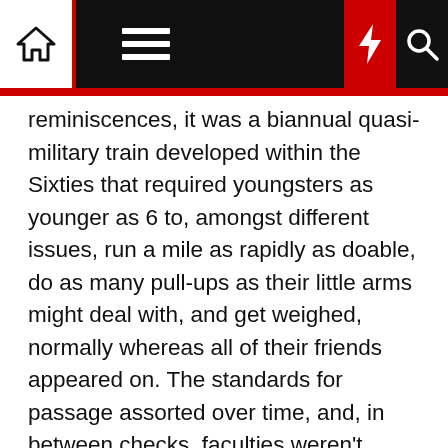Navigation bar with home, menu, moon, lightning, and search icons
reminiscences, it was a biannual quasi-military train developed within the Sixties that required youngsters as younger as 6 to, amongst different issues, run a mile as rapidly as doable, do as many pull-ups as their little arms might deal with, and get weighed, normally whereas all of their friends appeared on. The standards for passage assorted over time, and, in between checks, faculties weren't required to show youngsters something particularly that may assist them enhance their scores on the ability elements. As a substitute, the take a look at mirrored the priorities of the system that created it: For instance, youngsters deemed "obese" couldn't absolutely cross the take a look at, even when they outperformed their classmates. The entire system was a giant missed alternative: As a substitute of engendering curiosity about bodily exercise and